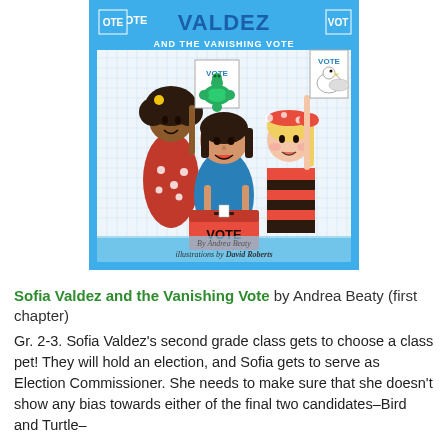[Figure (illustration): Book cover of 'Sofia Valdez and the Vanishing Vote' by Andrea Beaty, illustrations by David Roberts. Shows three cartoon children around a red ballot box labeled VOTE, holding signs with a turtle and bird on them. The cover has a blue border and graph-paper background.]
Sofia Valdez and the Vanishing Vote by Andrea Beaty (first chapter)
Gr. 2-3. Sofia Valdez's second grade class gets to choose a class pet! They will hold an election, and Sofia gets to serve as Election Commissioner. She needs to make sure that she doesn't show any bias towards either of the final two candidates–Bird and Turtle–